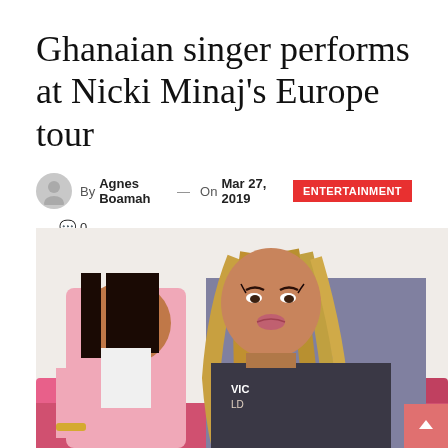Ghanaian singer performs at Nicki Minaj's Europe tour
By Agnes Boamah — On Mar 27, 2019 ENTERTAINMENT
— 0 comments
[Figure (photo): Two women sitting together on a pink sofa. The woman on the left wears a pink blazer and has straight dark hair. The woman on the right has long wavy blonde hair and is making a kissing face, wearing a graphic top. There are pink and white decorative pillows visible in the background.]